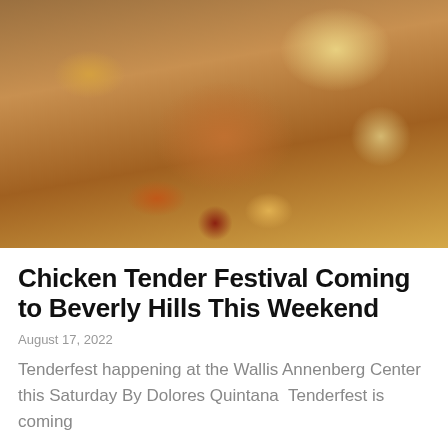[Figure (photo): Overhead shot of fried chicken tenders and various side dishes in takeout containers on a tray, including french fries, mac and cheese, corn, coleslaw, and dipping sauces]
Chicken Tender Festival Coming to Beverly Hills This Weekend
August 17, 2022
Tenderfest happening at the Wallis Annenberg Center this Saturday By Dolores Quintana  Tenderfest is coming